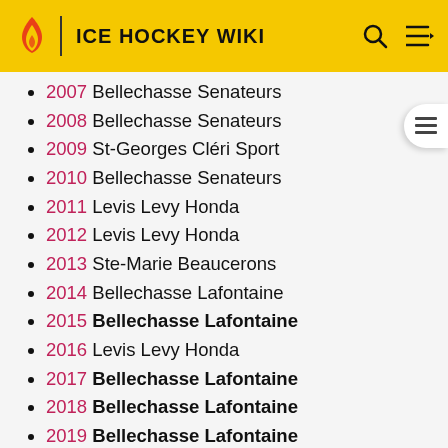ICE HOCKEY WIKI
2007 Bellechasse Senateurs
2008 Bellechasse Senateurs
2009 St-Georges Cléri Sport
2010 Bellechasse Senateurs
2011 Levis Levy Honda
2012 Levis Levy Honda
2013 Ste-Marie Beaucerons
2014 Bellechasse Lafontaine
2015 Bellechasse Lafontaine
2016 Levis Levy Honda
2017 Bellechasse Lafontaine
2018 Bellechasse Lafontaine
2019 Bellechasse Lafontaine
2020 Playoffs cancelled
2021 Season Cancelled due to COVID-19